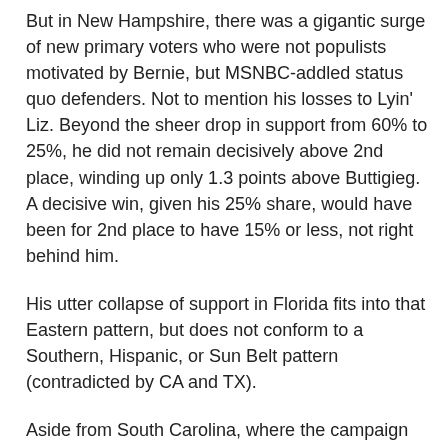But in New Hampshire, there was a gigantic surge of new primary voters who were not populists motivated by Bernie, but MSNBC-addled status quo defenders. Not to mention his losses to Lyin' Liz. Beyond the sheer drop in support from 60% to 25%, he did not remain decisively above 2nd place, winding up only 1.3 points above Buttigieg. A decisive win, given his 25% share, would have been for 2nd place to have 15% or less, not right behind him.
His utter collapse of support in Florida fits into that Eastern pattern, but does not conform to a Southern, Hispanic, or Sun Belt pattern (contradicted by CA and TX).
Aside from South Carolina, where the campaign has been investing heavily solely for early state narrative value, Bernie doesn't look too good in the other Southeastern states, polling 10-20% in states where he lost last time but at least picked up 30-some percent of the vote. That, too, points to an Eastern pattern, since he is improving in the Southwest (including Texas).